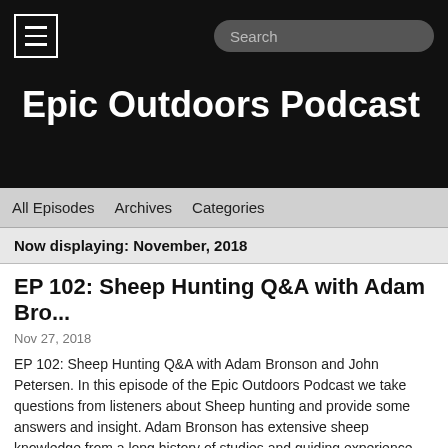Epic Outdoors Podcast
All Episodes   Archives   Categories
Now displaying: November, 2018
EP 102: Sheep Hunting Q&A with Adam Bro...
Nov 27, 2018
EP 102: Sheep Hunting Q&A with Adam Bronson and John Petersen. In this episode of the Epic Outdoors Podcast we take questions from listeners about Sheep hunting and provide some answers and insight. Adam Bronson has extensive sheep knowledge from a long history of studies and guiding experience. From how to field judge a ram to diseases that are affecting our sheep herds, Adam will give his point of view and provide some great insight into sheep and sheep hunting.